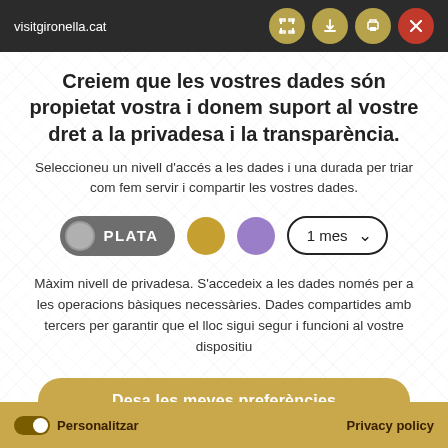visitgironella.cat
Creiem que les vostres dades són propietat vostra i donem suport al vostre dret a la privadesa i la transparència.
Seleccioneu un nivell d'accés a les dades i una durada per triar com fem servir i compartir les vostres dades.
PLATA  [gold circle]  [purple circle]  1 mes ↓
Màxim nivell de privadesa. S'accedeix a les dades només per a les operacions bàsiques necessàries. Dades compartides amb tercers per garantir que el lloc sigui segur i funcioni al vostre dispositiu
Desa les meves preferències
Personalitzar  |  Privacy policy